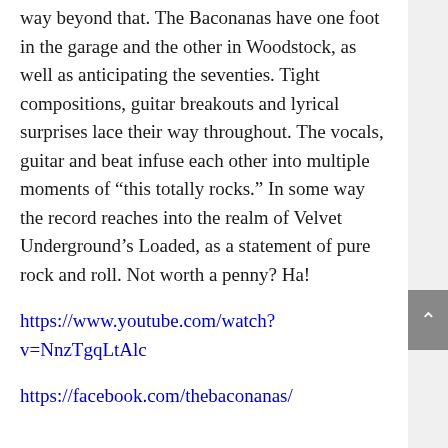way beyond that. The Baconanas have one foot in the garage and the other in Woodstock, as well as anticipating the seventies. Tight compositions, guitar breakouts and lyrical surprises lace their way throughout. The vocals, guitar and beat infuse each other into multiple moments of “this totally rocks.” In some way the record reaches into the realm of Velvet Underground’s Loaded, as a statement of pure rock and roll. Not worth a penny? Ha!
https://www.youtube.com/watch?v=NnzTgqLtAlc
https://facebook.com/thebaconanas/
Florenci Salesas – Rèquiem Tinitus